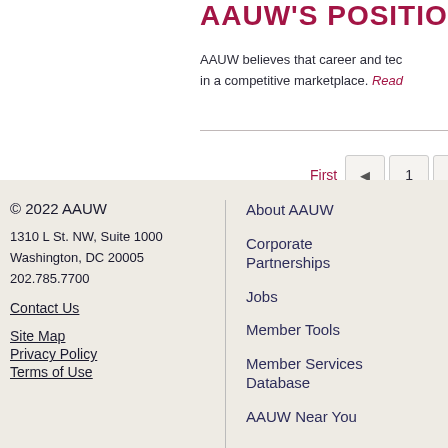AAUW'S POSITION
AAUW believes that career and technical education is essential for women to succeed in a competitive marketplace. Read
First ◄ 1 2 3
© 2022 AAUW
1310 L St. NW, Suite 1000
Washington, DC 20005
202.785.7700
Contact Us
Site Map
Privacy Policy
Terms of Use
About AAUW
Corporate Partnerships
Jobs
Member Tools
Member Services Database
AAUW Near You
AAUW
Dona
Tax ID
Read
Donat